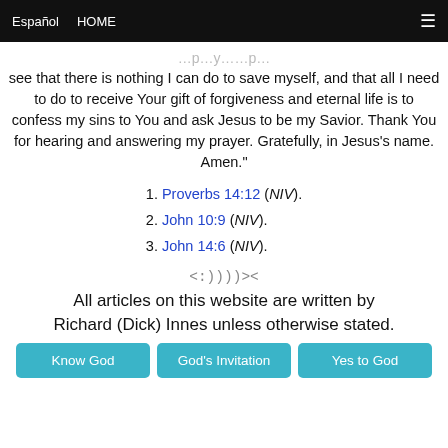Español  HOME  ☰
see that there is nothing I can do to save myself, and that all I need to do to receive Your gift of forgiveness and eternal life is to confess my sins to You and ask Jesus to be my Savior. Thank You for hearing and answering my prayer. Gratefully, in Jesus's name. Amen."
1. Proverbs 14:12 (NIV).
2. John 10:9 (NIV).
3. John 14:6 (NIV).
<:))))><
All articles on this website are written by Richard (Dick) Innes unless otherwise stated.
Know God  God's Invitation  Yes to God